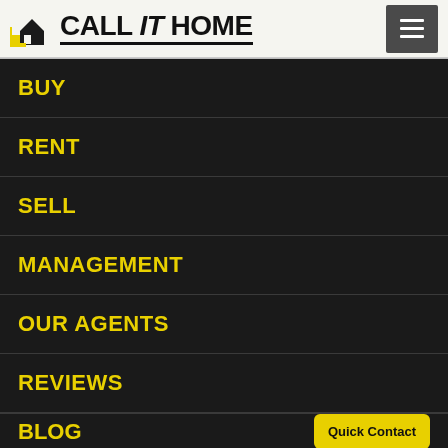CALL It HOME
Google  Keyboard shortcuts  Map data ©2022  Terms of Use
BUY
RENT
SELL
MANAGEMENT
OUR AGENTS
REVIEWS
BLOG
Quick Contact